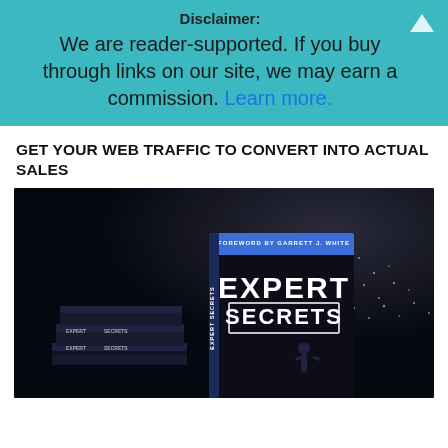Disclaimer:
We are reader-supported. If you buy through links on our site, we may earn a commission. Learn more.
GET YOUR WEB TRAFFIC TO CONVERT INTO ACTUAL SALES
[Figure (photo): Stack of Expert Secrets books with a dark background, showing a person standing in front of a crowd with lights. The front book cover reads 'EXPERT SECRETS' with 'FOREWORD BY GARRETT J. WHITE' at the top.]